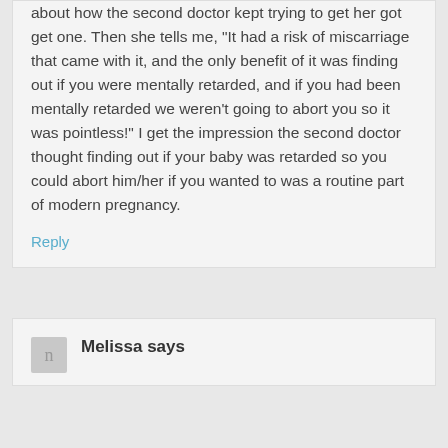about how the second doctor kept trying to get her got get one. Then she tells me, "It had a risk of miscarriage that came with it, and the only benefit of it was finding out if you were mentally retarded, and if you had been mentally retarded we weren't going to abort you so it was pointless!" I get the impression the second doctor thought finding out if your baby was retarded so you could abort him/her if you wanted to was a routine part of modern pregnancy.
Reply
Melissa says